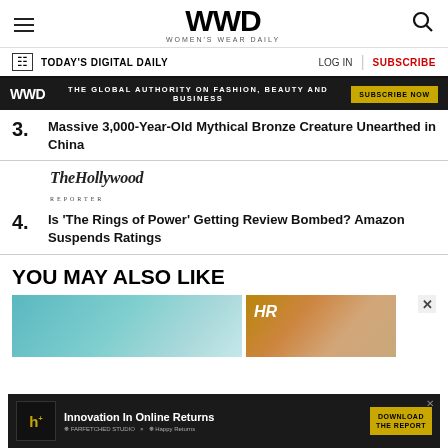WWD — WOMEN'S WEAR DAILY
TODAY'S DIGITAL DAILY | LOG IN | SUBSCRIBE
[Figure (infographic): WWD dark banner ad: THE GLOBAL AUTHORITY ON FASHION, BEAUTY AND BUSINESS — SUBSCRIBE NOW button]
3. Massive 3,000-Year-Old Mythical Bronze Creature Unearthed in China
[Figure (logo): The Hollywood Reporter logo in italic serif font]
4. Is 'The Rings of Power' Getting Review Bombed? Amazon Suspends Ratings
YOU MAY ALSO LIKE
[Figure (photo): Two thumbnail images side by side: left is a teal/blue aerial water image, right is a warm brown image with HR logo]
[Figure (infographic): Bottom advertisement banner: Innovation In Online Returns — DOWNLOAD THE REPORT — Happy Returns]